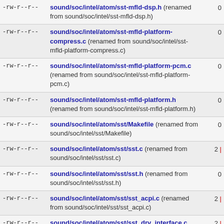| permissions | file | count |
| --- | --- | --- |
| -rw-r--r-- | sound/soc/intel/atom/sst-mfld-dsp.h (renamed from sound/soc/intel/sst-mfld-dsp.h) | 0 |
| -rw-r--r-- | sound/soc/intel/atom/sst-mfld-platform-compress.c (renamed from sound/soc/intel/sst-mfld-platform-compress.c) | 0 |
| -rw-r--r-- | sound/soc/intel/atom/sst-mfld-platform-pcm.c (renamed from sound/soc/intel/sst-mfld-platform-pcm.c) | 0 |
| -rw-r--r-- | sound/soc/intel/atom/sst-mfld-platform.h (renamed from sound/soc/intel/sst-mfld-platform.h) | 0 |
| -rw-r--r-- | sound/soc/intel/atom/sst/Makefile (renamed from sound/soc/intel/sst/Makefile) | 0 |
| -rw-r--r-- | sound/soc/intel/atom/sst/sst.c (renamed from sound/soc/intel/sst/sst.c) | 2 | |
| -rw-r--r-- | sound/soc/intel/atom/sst/sst.h (renamed from sound/soc/intel/sst/sst.h) | 0 |
| -rw-r--r-- | sound/soc/intel/atom/sst/sst_acpi.c (renamed from sound/soc/intel/sst/sst_acpi.c) | 2 | |
| -rw-r--r-- | sound/soc/intel/atom/sst/sst_drv_interface.c (renamed from sound/soc/intel/sst/sst_drv_interface.c) | 2 | |
| -rw-r--r-- | sound/soc/intel/atom/sst/sst_ipc.c (renamed from ...) | 2 | |